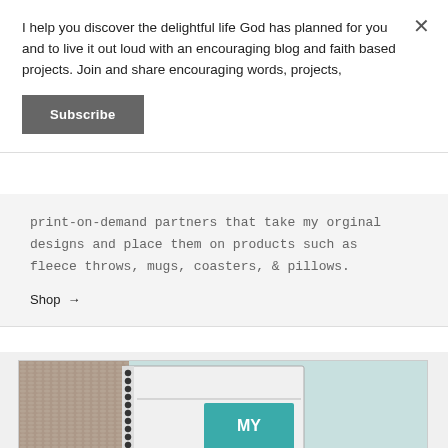I help you discover the delightful life God has planned for you and to live it out loud with an encouraging blog and faith based projects. Join and share encouraging words, projects,
Subscribe
print-on-demand partners that take my orginal designs and place them on products such as fleece throws, mugs, coasters, & pillows.
Shop →
[Figure (photo): A spiral-bound notebook on a teal/light blue background with a knitted fabric item and what appears to be a mug or object, with 'MY' text visible on the notebook cover.]